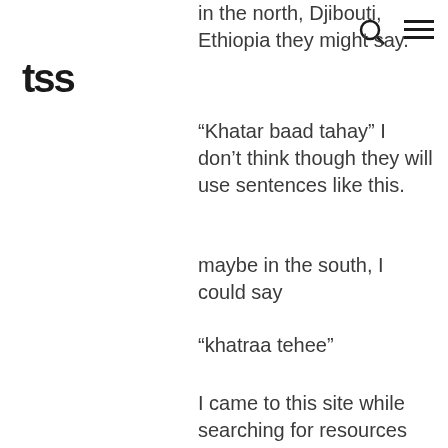[Figure (logo): TSS logo in bold black text]
in the north, Djibouti, Ethiopia they might say.
“Khatar baad tahay” I don’t think though they will use sentences like this.
maybe in the south, I could say
“khatraa tehee”
I came to this site while searching for resources for my children who were born in North America and want to learn Somali. They were inspired by this Somali girl https://www.youtube.com